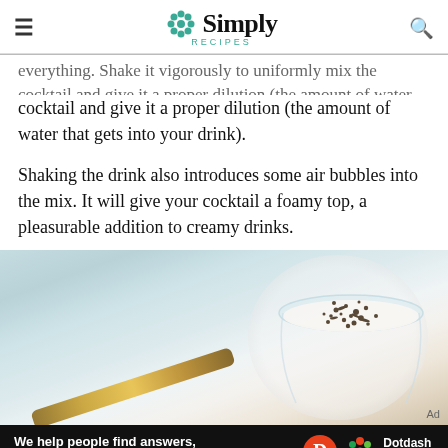Simply Recipes
everything. Shake it vigorously to uniformly mix the cocktail and give it a proper dilution (the amount of water that gets into your drink).
Shaking the drink also introduces some air bubbles into the mix. It will give your cocktail a foamy top, a pleasurable addition to creamy drinks.
[Figure (photo): A creamy cocktail in a wide coupe glass topped with grated chocolate, served on a light marble surface with a gold bar tool beside it.]
We help people find answers, solve problems and get inspired. Dotdash meredith